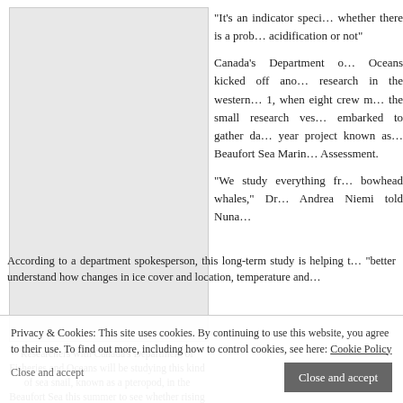[Figure (photo): Photo placeholder showing a sea snail (pteropod) - light gray rectangle]
Researchers with Canada's Department of Fisheries and Oceans will be studying this kind of sea snail, known as a pteropod, in the Beaufort Sea this summer to see whether rising pH levels are damaging the critters' shells. (PHOTO COURTESY OF HOPCRAFT.UAF/COML)
“It’s an indicator species, whether there is a problem with acidification or not”
Canada’s Department of Fisheries and Oceans kicked off another season of research in the western Arctic on Aug. 1, when eight crew members boarded the small research vessel Investigator, embarked to gather data for a five-year project known as the Beaufort Sea Marine Biodiversity Assessment.
“We study everything from bowhead whales,” Dr. Andrea Niemi told Nunatsiaq News Aug. 2.
According to a department spokesperson, this long-term study is helping to “better understand how changes in ice cover and location, temperature and
Privacy & Cookies: This site uses cookies. By continuing to use this website, you agree to their use. To find out more, including how to control cookies, see here: Cookie Policy